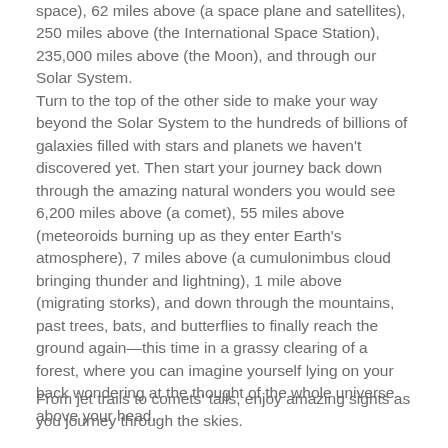space), 62 miles above (a space plane and satellites), 250 miles above (the International Space Station), 235,000 miles above (the Moon), and through our Solar System.
Turn to the top of the other side to make your way beyond the Solar System to the hundreds of billions of galaxies filled with stars and planets we haven't discovered yet. Then start your journey back down through the amazing natural wonders you would see 6,200 miles above (a comet), 55 miles above (meteoroids burning up as they enter Earth's atmosphere), 7 miles above (a cumulonimbus cloud bringing thunder and lightning), 1 mile above (migrating storks), and down through the mountains, past trees, bats, and butterflies to finally reach the ground again—this time in a grassy clearing of a forest, where you can imagine yourself lying on your back wondering at the thought of the whole universe above your head.
From jet trails to comets' tails, enjoy amazing sights as you journey through the skies.